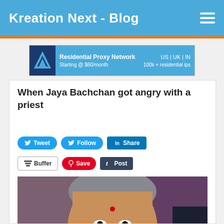Kreation Next - Blog
[Figure (screenshot): Advertisement banner for Residential Proxy Network. Shows logo on left, text 'Residential Proxy Network', 'US | UK | IN', 'Starting @ $60/month', '100k + residential ips']
When Jaya Bachchan got angry with a priest
[Figure (screenshot): Social sharing buttons: Tweet, Follow (Twitter), Share (LinkedIn), Buffer, Save (Pinterest), Post (Tumblr)]
[Figure (photo): Photo of Jaya Bachchan wearing a green saree and jewelry, with grey hair and a red bindi, looking at the camera with a serious expression. A Comodo Secure seal is visible in the lower left corner.]